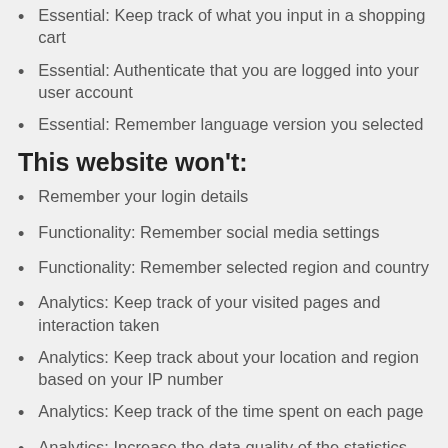Essential: Keep track of what you input in a shopping cart
Essential: Authenticate that you are logged into your user account
Essential: Remember language version you selected
This website won't:
Remember your login details
Functionality: Remember social media settings
Functionality: Remember selected region and country
Analytics: Keep track of your visited pages and interaction taken
Analytics: Keep track about your location and region based on your IP number
Analytics: Keep track of the time spent on each page
Analytics: Increase the data quality of the statistics functions
Advertising: Tailor information and advertising to your